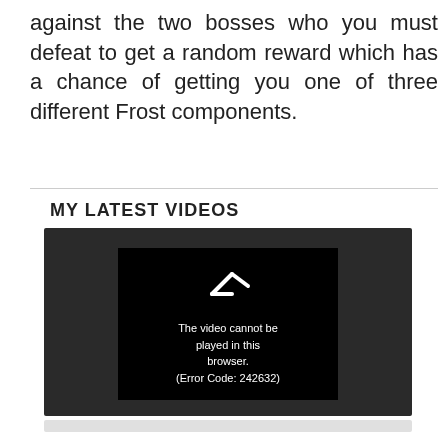against the two bosses who you must defeat to get a random reward which has a chance of getting you one of three different Frost components.
MY LATEST VIDEOS
[Figure (screenshot): Video player showing error message: 'The video cannot be played in this browser. (Error Code: 242632)']